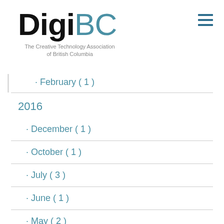[Figure (logo): DigiBC logo — 'Digi' in black bold and 'BC' in steel blue, with tagline 'The Creative Technology Association of British Columbia']
· February ( 1 )
2016
· December ( 1 )
· October ( 1 )
· July ( 3 )
· June ( 1 )
· May ( 2 )
· April ( 2 )